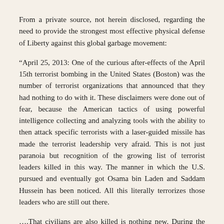From a private source, not herein disclosed, regarding the need to provide the strongest most effective physical defense of Liberty against this global garbage movement:
“April 25, 2013: One of the curious after-effects of the April 15th terrorist bombing in the United States (Boston) was the number of terrorist organizations that announced that they had nothing to do with it. These disclaimers were done out of fear, because the American tactics of using powerful intelligence collecting and analyzing tools with the ability to then attack specific terrorists with a laser-guided missile has made the terrorist leadership very afraid. This is not just paranoia but recognition of the growing list of terrorist leaders killed in this way. The manner in which the U.S. pursued and eventually got Osama bin Laden and Saddam Hussein has been noticed. All this literally terrorizes those leaders who are still out there.
….That civilians are also killed is nothing new. During the allied invasion of France in 1944, the several months of fighting required to destroy the German armies in France also left 15,000 French civilians dead in the invasion area and more than that in the rest of France.